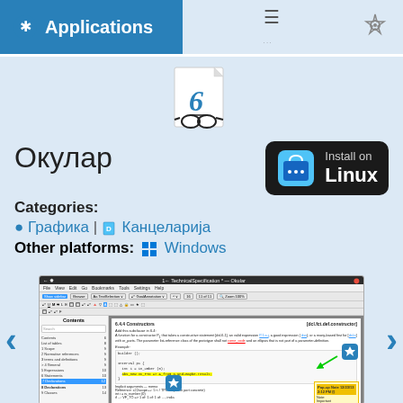KDE Applications
[Figure (screenshot): Okular application icon - document with glasses]
Окулар
[Figure (other): Install on Linux button with shopping bag icon]
Categories:
● Графика | 📄 Канцеларија
Other platforms: Windows
[Figure (screenshot): Okular PDF viewer application screenshot showing a technical specification document with table of contents sidebar, document content, and annotations including a yellow popup note]